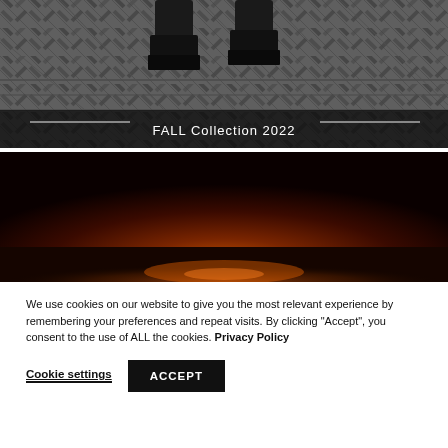[Figure (photo): Black and white photo showing the lower legs and boots of a person walking on a herringbone patterned wooden floor. A semi-transparent dark bar overlays the bottom with white text 'FALL Collection 2022'.]
[Figure (photo): Dark atmospheric photo showing a stage or room floor with a warm reddish-orange glow emanating from the lower portion, against a very dark background.]
We use cookies on our website to give you the most relevant experience by remembering your preferences and repeat visits. By clicking “Accept”, you consent to the use of ALL the cookies. Privacy Policy
Cookie settings
ACCEPT